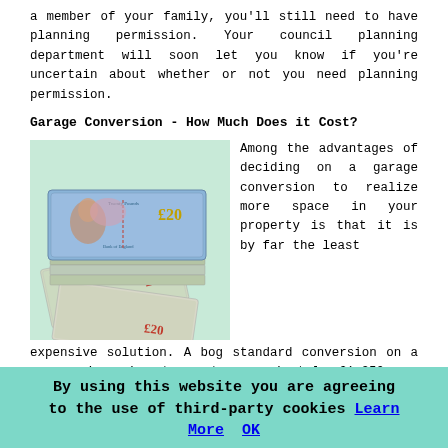a member of your family, you'll still need to have planning permission. Your council planning department will soon let you know if you're uncertain about whether or not you need planning permission.
Garage Conversion - How Much Does it Cost?
[Figure (photo): Stack of £20 banknotes piled high, shown on a white/light green background]
Among the advantages of deciding on a garage conversion to realize more space in your property is that it is by far the least expensive solution. A bog standard conversion on a garage is going to cost approximately £1,250 per m2, meaning that you can complete the whole thing for less than £8,000 to £10,000 (subject to the area of the garage). You could
By using this website you are agreeing to the use of third-party cookies Learn More OK